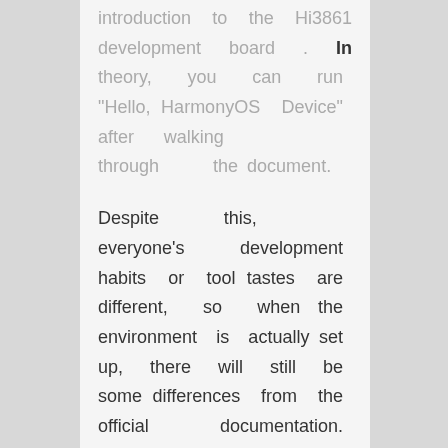introduction to the Hi3861 development board . In theory, you can run "Hello, HarmonyOS Device" after walking through the document.
Despite this, everyone's development habits or tool tastes are different, so when the environment is actually set up, there will still be some differences from the official documentation. Since I have